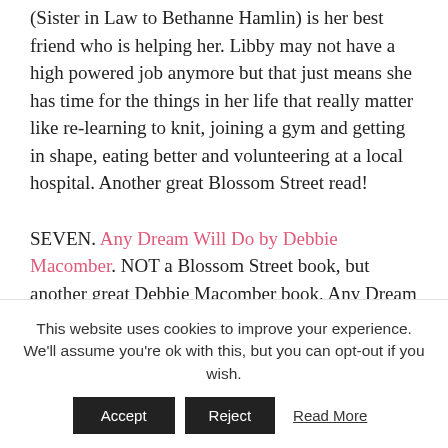(Sister in Law to Bethanne Hamlin) is her best friend who is helping her. Libby may not have a high powered job anymore but that just means she has time for the things in her life that really matter like re-learning to knit, joining a gym and getting in shape, eating better and volunteering at a local hospital. Another great Blossom Street read!
SEVEN. Any Dream Will Do by Debbie Macomber. NOT a Blossom Street book, but another great Debbie Macomber book, Any Dream Will Do is about a woman named Shay who found herself making the wrong decision to
This website uses cookies to improve your experience. We'll assume you're ok with this, but you can opt-out if you wish.